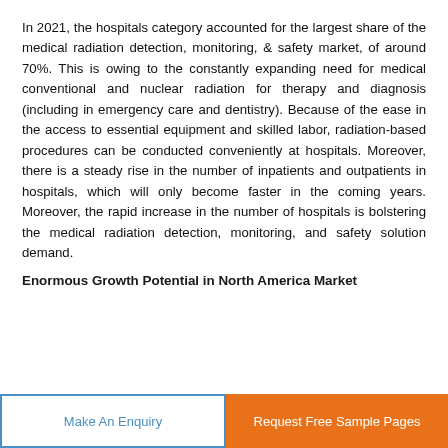In 2021, the hospitals category accounted for the largest share of the medical radiation detection, monitoring, & safety market, of around 70%. This is owing to the constantly expanding need for medical conventional and nuclear radiation for therapy and diagnosis (including in emergency care and dentistry). Because of the ease in the access to essential equipment and skilled labor, radiation-based procedures can be conducted conveniently at hospitals. Moreover, there is a steady rise in the number of inpatients and outpatients in hospitals, which will only become faster in the coming years. Moreover, the rapid increase in the number of hospitals is bolstering the medical radiation detection, monitoring, and safety solution demand.
Enormous Growth Potential in North America Market